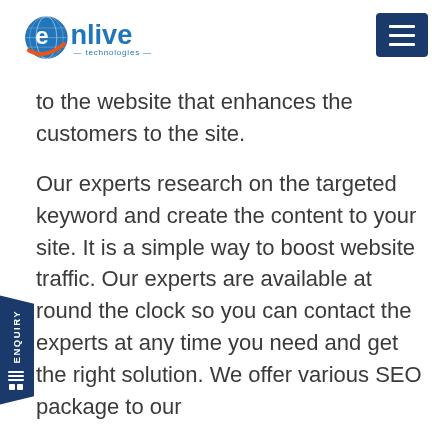[Figure (logo): Onlive Technologies logo with globe icon in blue and orange]
to the website that enhances the customers to the site.
Our experts research on the targeted keyword and create the content to your site. It is a simple way to boost website traffic. Our experts are available at round the clock so you can contact the experts at any time you need and get the right solution. We offer various SEO package to our